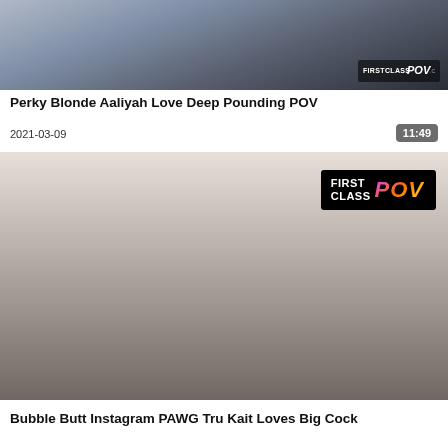[Figure (photo): Partial view of a person in a dark outfit on a bed, with FirstClassPOV.com watermark in bottom right corner]
Perky Blonde Aaliyah Love Deep Pounding POV
2021-03-09
11:49
[Figure (photo): Dark-haired woman in red lingerie on white bed with FirstClass POV logo banner in upper right]
Bubble Butt Instagram PAWG Tru Kait Loves Big Cock